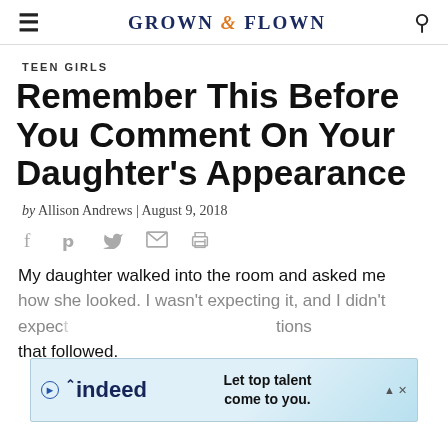GROWN & FLOWN
TEEN GIRLS
Remember This Before You Comment On Your Daughter's Appearance
by Allison Andrews | August 9, 2018
[Figure (infographic): Social sharing icons: Facebook, Pinterest, Twitter, Email, Print]
My daughter walked into the room and asked me how she looked. I wasn't expecting it and the questions that followed.
[Figure (infographic): Indeed advertisement banner: 'Let top talent come to you.' with Indeed logo]